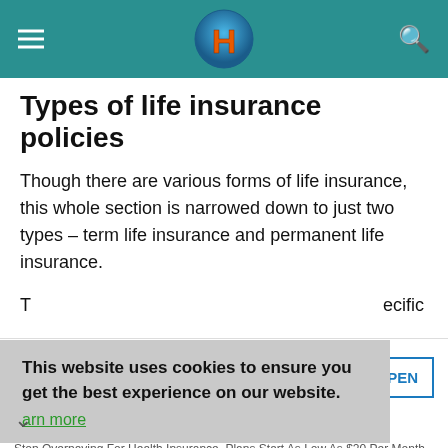H (logo)
Types of life insurance policies
Though there are various forms of life insurance, this whole section is narrowed down to just two types – term life insurance and permanent life insurance.
T... ecific
This website uses cookies to ensure you get the best experience on our website.
arn more
...are
Get A Health Insurance Plan - 2022 Health Insurance Plans
Stop Overpaying For Health Insurance. Plans Start As Low As $20 Per Month. healthcareofamerica.org